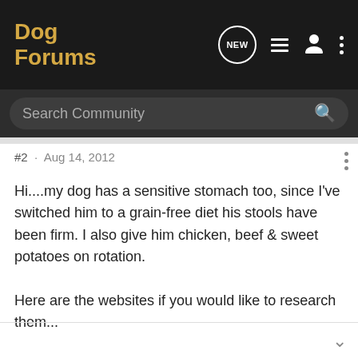Dog Forums
#2 · Aug 14, 2012
Hi....my dog has a sensitive stomach too, since I've switched him to a grain-free diet his stools have been firm. I also give him chicken, beef & sweet potatoes on rotation.

Here are the websites if you would like to research them...

http://www.earthbornholisticpetfood.com/us/

http://www.petcurean.com/for-dogs/go/